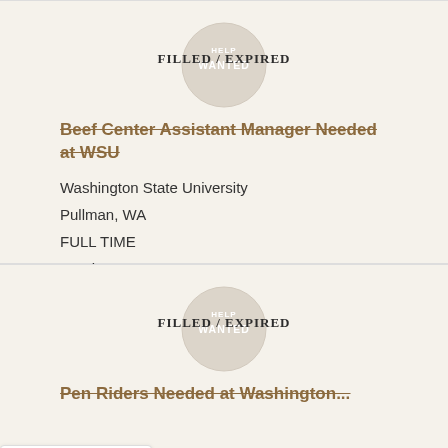[Figure (other): Filled/Expired badge stamp with 'Help Wanted' text in circle]
Beef Center Assistant Manager Needed at WSU
Washington State University
Pullman, WA
FULL TIME
October 19, 2017
[Figure (other): Filled/Expired badge stamp with 'Help Wanted' text in circle]
Pen Riders Needed at Washington...